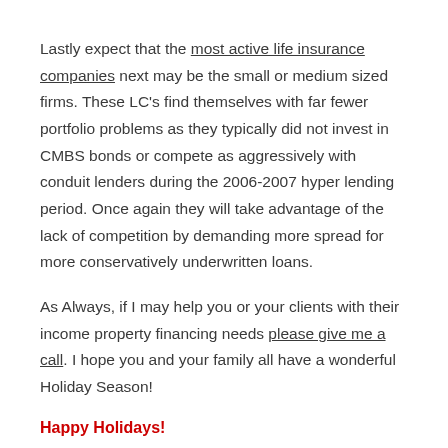Lastly expect that the most active life insurance companies next may be the small or medium sized firms. These LC's find themselves with far fewer portfolio problems as they typically did not invest in CMBS bonds or compete as aggressively with conduit lenders during the 2006-2007 hyper lending period. Once again they will take advantage of the lack of competition by demanding more spread for more conservatively underwritten loans.
As Always, if I may help you or your clients with their income property financing needs please give me a call. I hope you and your family all have a wonderful Holiday Season!
Happy Holidays!